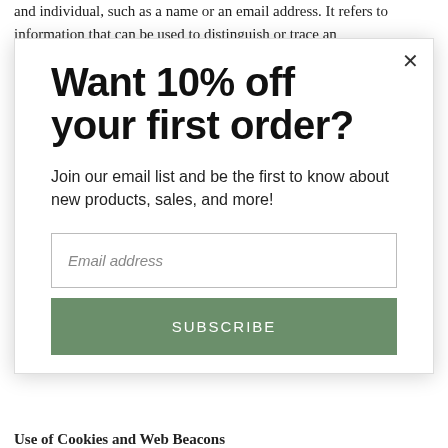and individual, such as a name or an email address. It refers to information that can be used to distinguish or trace an
Want 10% off your first order?
Join our email list and be the first to know about new products, sales, and more!
Email address
SUBSCRIBE
Use of Cookies and Web Beacons